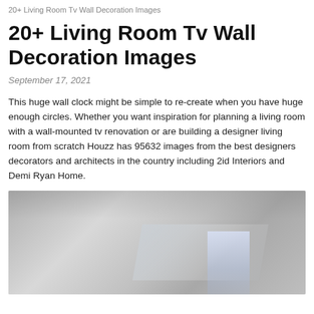20+ Living Room Tv Wall Decoration Images
20+ Living Room Tv Wall Decoration Images
September 17, 2021
This huge wall clock might be simple to re-create when you have huge enough circles. Whether you want inspiration for planning a living room with a wall-mounted tv renovation or are building a designer living room from scratch Houzz has 95632 images from the best designers decorators and architects in the country including 2id Interiors and Demi Ryan Home.
[Figure (photo): Interior photo showing a partial view of a modern living room wall, with light and shadow details visible, appearing to show a wall-mounted TV area with neutral gray tones.]